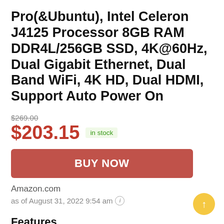Pro(&Ubuntu), Intel Celeron J4125 Processor 8GB RAM DDR4L/256GB SSD, 4K@60Hz, Dual Gigabit Ethernet, Dual Band WiFi, 4K HD, Dual HDMI, Support Auto Power On
$269.00
$203.15 in stock
BUY NOW
Amazon.com
as of August 31, 2022 9:54 am ⓘ
Features
⬜High-Class & Fast Processor⬜Beelink GK55